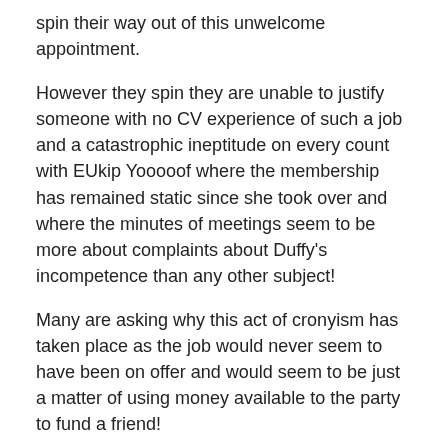spin their way out of this unwelcome appointment.
However they spin they are unable to justify someone with no CV experience of such a job and a catastrophic ineptitude on every count with EUkip Yooooof where the membership has remained static since she took over and where the minutes of meetings seem to be more about complaints about Duffy's incompetence than any other subject!
Many are asking why this act of cronyism has taken place as the job would never seem to have been on offer and would seem to be just a matter of using money available to the party to fund a friend!
We hear that on an NEC decision the party has once more wandered into the realms of criminality!